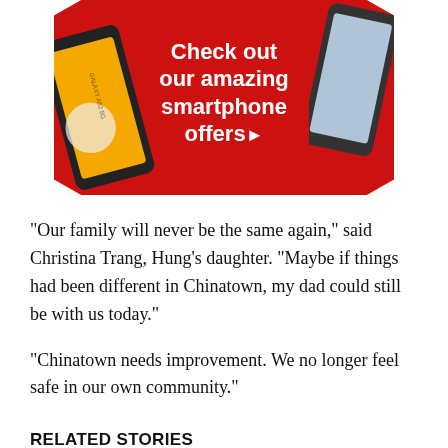[Figure (illustration): Advertisement banner with red diamond-shaped background showing smartphone offers. Text reads 'Check out our amazing smartphone offers ▶' with images of Samsung Galaxy smartphones on left and right sides.]
"Our family will never be the same again," said Christina Trang, Hung's daughter. "Maybe if things had been different in Chinatown, my dad could still be with us today."
"Chinatown needs improvement. We no longer feel safe in our own community."
RELATED STORIES